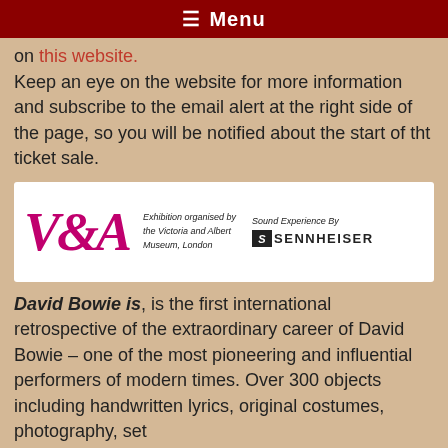≡ Menu
on this website.
Keep an eye on the website for more information and subscribe to the email alert at the right side of the page, so you will be notified about the start of tht ticket sale.
[Figure (logo): V&A logo with text 'Exhibition organised by the Victoria and Albert Museum, London' and 'Sound Experience By SENNHEISER']
David Bowie is, is the first international retrospective of the extraordinary career of David Bowie – one of the most pioneering and influential performers of modern times. Over 300 objects including handwritten lyrics, original costumes, photography, set